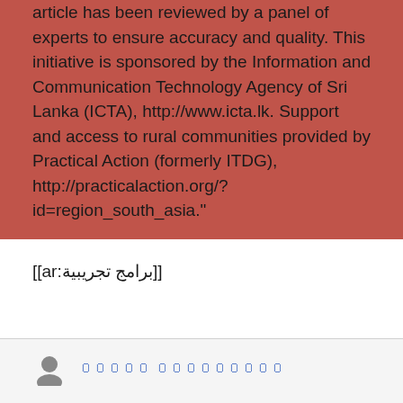article has been reviewed by a panel of experts to ensure accuracy and quality. This initiative is sponsored by the Information and Communication Technology Agency of Sri Lanka (ICTA), http://www.icta.lk. Support and access to rural communities provided by Practical Action (formerly ITDG), http://practicalaction.org/?id=region_south_asia."
[[ar:برامج تجريبية]]
០០០០០០០
5,824
០០